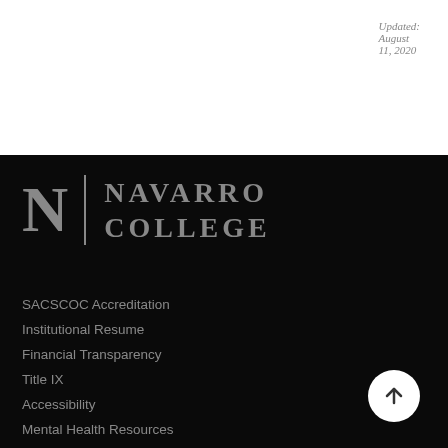Updated: August 11, 2020
[Figure (logo): Navarro College logo with large N letter and vertical divider bar followed by NAVARRO COLLEGE text in serif font]
SACSCOC Accreditation
Institutional Resume
Financial Transparency
Title IX
Accessibility
Mental Health Resources